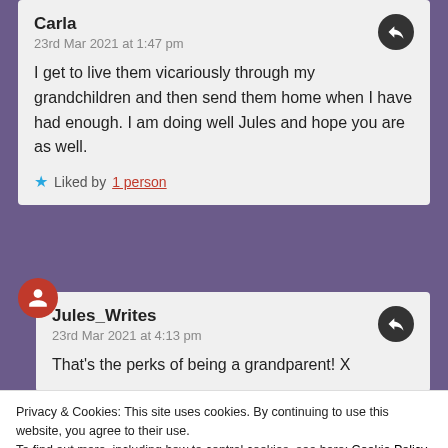Carla
23rd Mar 2021 at 1:47 pm
I get to live them vicariously through my grandchildren and then send them home when I have had enough. I am doing well Jules and hope you are as well.
Liked by 1 person
Jules_Writes
23rd Mar 2021 at 4:13 pm
That’s the perks of being a grandparent! X
Privacy & Cookies: This site uses cookies. By continuing to use this website, you agree to their use.
To find out more, including how to control cookies, see here: Cookie Policy
Close and accept